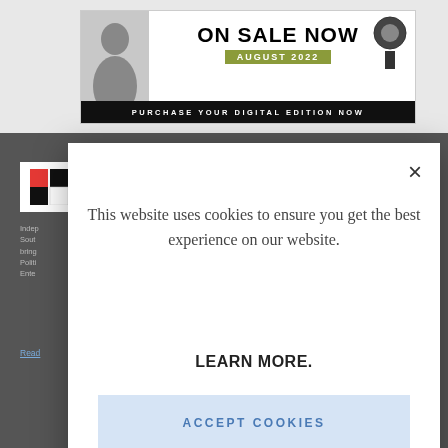[Figure (screenshot): Website banner showing 'ON SALE NOW AUGUST 2022' with a person, magazine logo, and black bar reading 'PURCHASE YOUR DIGITAL EDITION NOW']
[Figure (screenshot): Dark background website section with a logo box (red/black squares) and truncated sidebar text about independent South African publication]
This website uses cookies to ensure you get the best experience on our website.
LEARN MORE.
ACCEPT COOKIES